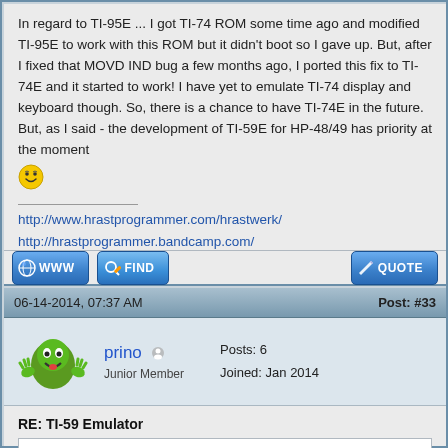In regard to TI-95E ... I got TI-74 ROM some time ago and modified TI-95E to work with this ROM but it didn't boot so I gave up. But, after I fixed that MOVD IND bug a few months ago, I ported this fix to TI-74E and it started to work! I have yet to emulate TI-74 display and keyboard though. So, there is a chance to have TI-74E in the future. But, as I said - the development of TI-59E for HP-48/49 has priority at the moment
http://www.hrastprogrammer.com/hrastwerk/
http://hrastprogrammer.bandcamp.com/
06-14-2014, 07:37 AM
Post: #33
prino
Junior Member
Posts: 6
Joined: Jan 2014
RE: TI-59 Emulator
HrastProgrammer Wrote: (06-14-2014 06:00 AM)
prino Wrote: (06-13-2014 07:27 PM)